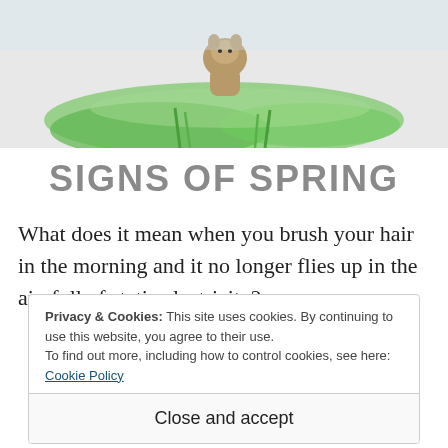[Figure (illustration): Partial illustration showing a green meadow scene with what appears to be an animal (possibly a groundhog or similar creature) near grass, on a light gray background. Only the bottom portion of the illustration is visible.]
SIGNS OF SPRING
What does it mean when you brush your hair in the morning and it no longer flies up in the air, full of static electricity?
Privacy & Cookies: This site uses cookies. By continuing to use this website, you agree to their use.
To find out more, including how to control cookies, see here: Cookie Policy

Close and accept